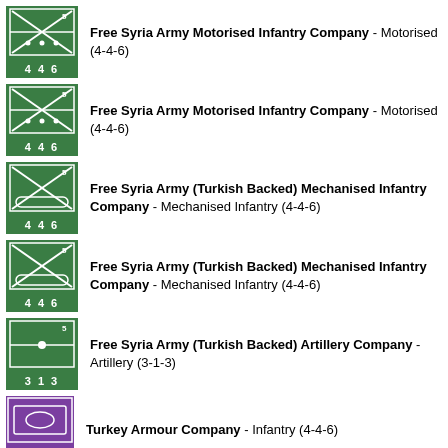Free Syria Army Motorised Infantry Company - Motorised (4-4-6)
Free Syria Army Motorised Infantry Company - Motorised (4-4-6)
Free Syria Army (Turkish Backed) Mechanised Infantry Company - Mechanised Infantry (4-4-6)
Free Syria Army (Turkish Backed) Mechanised Infantry Company - Mechanised Infantry (4-4-6)
Free Syria Army (Turkish Backed) Artillery Company - Artillery (3-1-3)
Turkey Armour Company - Infantry (4-4-6)
Turkey Armour Company - Infantry (4-4-6)
Turkey Armour Company - Infantry (4-4-6)
Turkey Armour Company - Infantry (4-4-6)